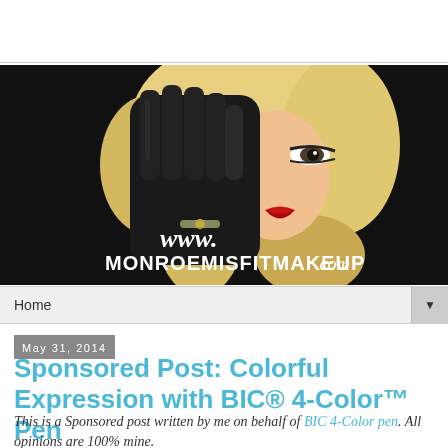[Figure (photo): Banner image for www.monroemisfitmakeup.com website. Shows a glamorous woman with blonde wavy hair, wearing a black glove held up over part of her face, with red lipstick visible. Black background with white cursive and serif text reading www.MONROEMISFITMAKEUP.com]
Home ▼
May 31, 2014
Sponsored Post: Colorful Expression with BIC® 4-Color™ Pen
This is a Sponsored post written by me on behalf of BIC 4-Color pen. All opinions are 100% mine.